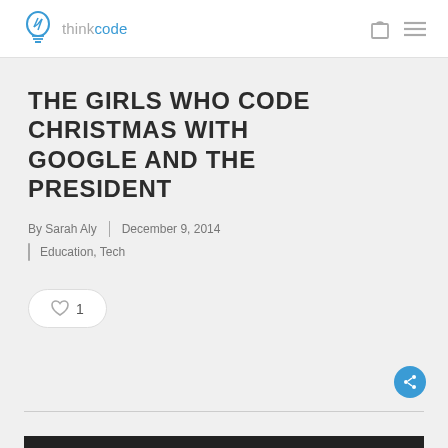thinkcode
THE GIRLS WHO CODE CHRISTMAS WITH GOOGLE AND THE PRESIDENT
By Sarah Aly | December 9, 2014
Education, Tech